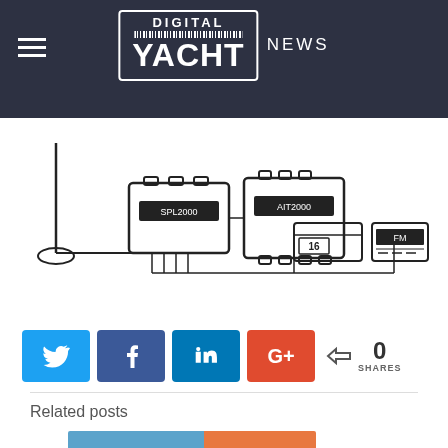DIGITAL YACHT NEWS
[Figure (schematic): Wiring diagram showing SPL2000 and AIT2000 marine electronics devices connected to an antenna, a VHF radio (channel 16), and an FM radio receiver]
[Figure (infographic): Social share buttons: Twitter, Facebook, LinkedIn, Google+ and a share count of 0 SHARES]
Related posts